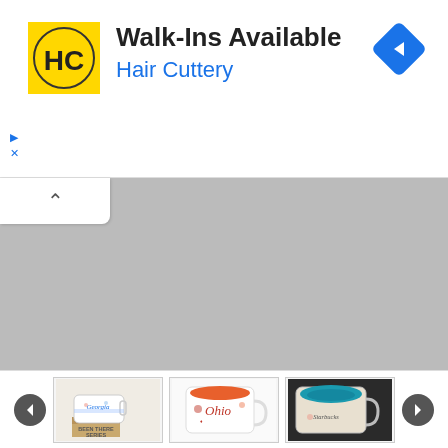[Figure (screenshot): Advertisement banner for Hair Cuttery. Yellow HC logo on left, 'Walk-Ins Available' headline in bold black, 'Hair Cuttery' in blue below, blue diamond navigation icon on right, small ad control icons (play/close) bottom-left.]
[Figure (screenshot): Gray collapsed content area with a white collapse/chevron-up tab in the top-left corner.]
[Figure (screenshot): Product image carousel showing three Starbucks 'Been There Series' mugs: Georgia mug with box, Ohio mug (orange interior), and a blue interior mug. Left and right navigation arrows.]